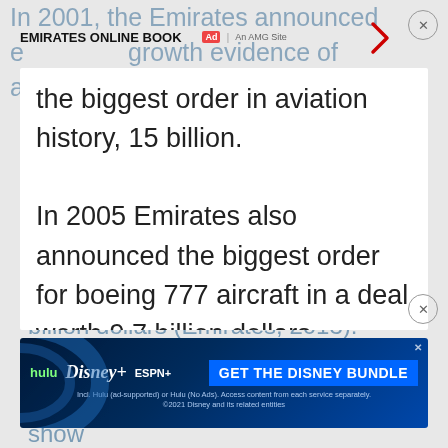In 2001, the Emirates announced e…llent growth evidence of achieving
the biggest order in aviation history, 15 billion. In 2005 Emirates also announced the biggest order for boeing 777 aircraft in a deal worth 9.7 billion dollars. In 2006, Emirates signed a Heads of Agreement for 10 new aircraft, namely Boeing 747-8F, the deal is worth 3.3
billion dollars (Emirates, 2013).
[Figure (screenshot): Disney Bundle advertisement banner with Hulu, Disney+, ESPN+ logos and 'GET THE DISNEY BUNDLE' call to action button]
In November 2007 in Dubai air show